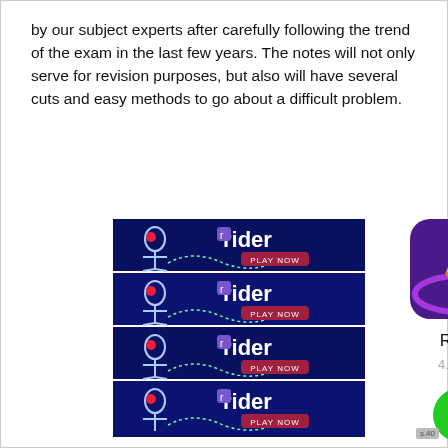by our subject experts after carefully following the trend of the exam in the last few years. The notes will not only serve for revision purposes, but also will have several cuts and easy methods to go about a difficult problem.
[Figure (screenshot): Advertisement banner for 'Rider' game showing four repeated blue banner ads with a stick figure on a motorcycle, red orb, and PLAY NOW button]
[Figure (screenshot): App store card showing Rider game icon (purple background with golden spaceship), app name 'Rider', rating '4.5 free', and a green download button]